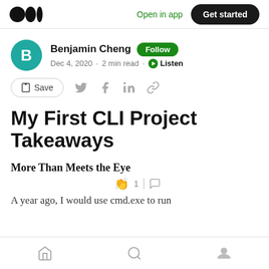Medium logo | Open in app | Get started
Benjamin Cheng · Follow · Dec 4, 2020 · 2 min read · Listen
Save (social share icons)
My First CLI Project Takeaways
More Than Meets the Eye
A year ago, I would use cmd.exe to run
Home | Search | Profile